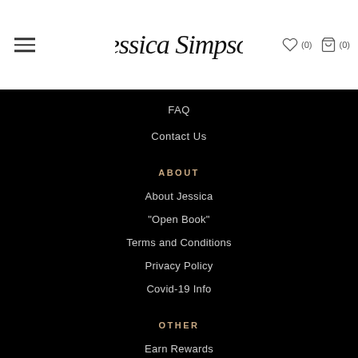[Figure (logo): Jessica Simpson script logo in header]
FAQ
Contact Us
ABOUT
About Jessica
"Open Book"
Terms and Conditions
Privacy Policy
Covid-19 Info
OTHER
Earn Rewards